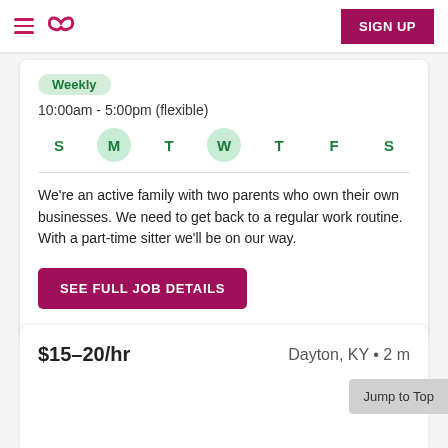SIGN UP
Weekly
10:00am - 5:00pm (flexible)
S M T W T F S — days of week with M and W highlighted
We're an active family with two parents who own their own businesses. We need to get back to a regular work routine. With a part-time sitter we'll be on our way.
SEE FULL JOB DETAILS
Posted by Jessica G. on 9/3/2022
Report job
$15–20/hr
Dayton, KY • 2 m
Jump to Top